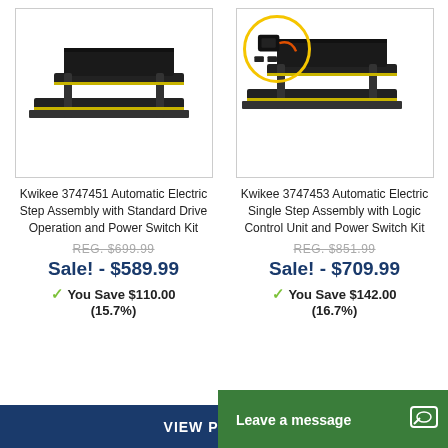[Figure (photo): Kwikee automatic electric step assembly product photo, black metal two-step unit, no accessories circle]
[Figure (photo): Kwikee automatic electric single step assembly product photo with yellow circle highlighting logic control unit and power switch kit accessories]
Kwikee 3747451 Automatic Electric Step Assembly with Standard Drive Operation and Power Switch Kit
Kwikee 3747453 Automatic Electric Single Step Assembly with Logic Control Unit and Power Switch Kit
REG. $699.99
Sale! - $589.99
You Save $110.00 (15.7%)
REG. $851.99
Sale! - $709.99
You Save $142.00 (16.7%)
VIEW PRODUCT
Leave a message